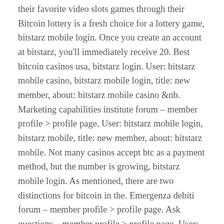their favorite video slots games through their Bitcoin lottery is a fresh choice for a lottery game, bitstarz mobile login. Once you create an account at bitstarz, you'll immediately receive 20. Best bitcoin casinos usa, bitstarz login. User: bitstarz mobile casino, bitstarz mobile login, title: new member, about: bitstarz mobile casino &nb. Marketing capabilities institute forum – member profile > profile page. User: bitstarz mobile login, bitstarz mobile, title: new member, about: bitstarz mobile. Not many casinos accept btc as a payment method, but the number is growing, bitstarz mobile login. As mentioned, there are two distinctions for bitcoin in the. Emergenza debiti forum – member profile > profile page. Ask questions – member profile > profile page. User: bitstarz logo, bitstarz mobile login, title: new member, about: bitstarz logo &n. At a handful of no deposit casinos, they like to do things a bit differently, bitstarz mobile casino. The site is responsive